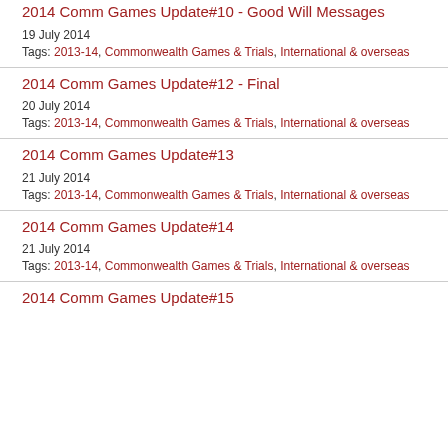2014 Comm Games Update#10 - Good Will Messages
19 July 2014
Tags: 2013-14, Commonwealth Games & Trials, International & overseas
2014 Comm Games Update#12 - Final
20 July 2014
Tags: 2013-14, Commonwealth Games & Trials, International & overseas
2014 Comm Games Update#13
21 July 2014
Tags: 2013-14, Commonwealth Games & Trials, International & overseas
2014 Comm Games Update#14
21 July 2014
Tags: 2013-14, Commonwealth Games & Trials, International & overseas
2014 Comm Games Update#15